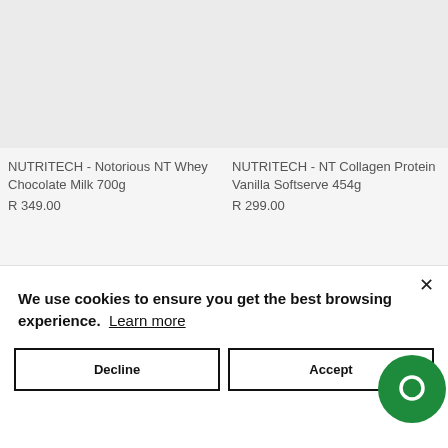[Figure (photo): Product image placeholder - light gray box for NUTRITECH Notorious NT Whey Chocolate Milk 700g]
NUTRITECH - Notorious NT Whey Chocolate Milk 700g
R 349.00
[Figure (photo): Product image placeholder - light gray box for NUTRITECH NT Collagen Protein Vanilla Softserve 454g]
NUTRITECH - NT Collagen Protein Vanilla Softserve 454g
R 299.00
We use cookies to ensure you get the best browsing experience. Learn more
Decline
Accept